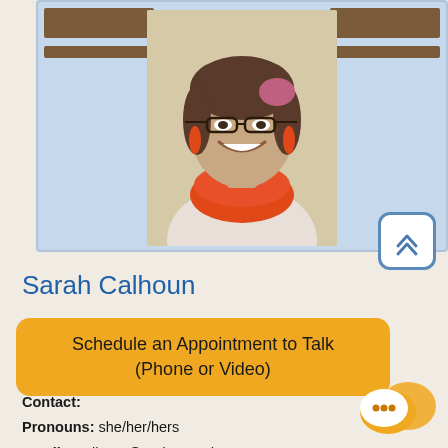[Figure (photo): Profile photo of Sarah Calhoun, a woman with glasses, red/orange earrings, and an orange scarf, smiling. The photo is inside a light blue card with brown decorative bars at the top. A scroll-to-top button with a double chevron is in the bottom right corner of the card.]
Sarah Calhoun
Schedule an Appointment to Talk (Phone or Video)
Contact:
Pronouns: she/her/hers
Email: scalhoun@carleton.edu